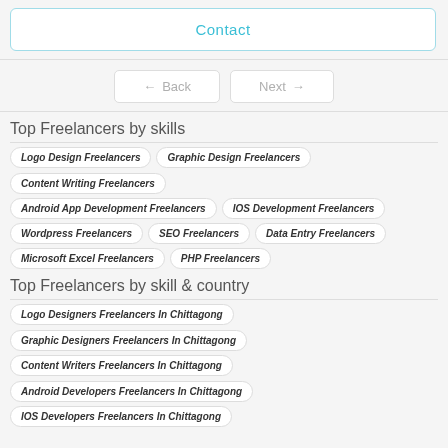Contact
← Back  Next →
Top Freelancers by skills
Logo Design Freelancers
Graphic Design Freelancers
Content Writing Freelancers
Android App Development Freelancers
IOS Development Freelancers
Wordpress Freelancers
SEO Freelancers
Data Entry Freelancers
Microsoft Excel Freelancers
PHP Freelancers
Top Freelancers by skill & country
Logo Designers Freelancers In Chittagong
Graphic Designers Freelancers In Chittagong
Content Writers Freelancers In Chittagong
Android Developers Freelancers In Chittagong
IOS Developers Freelancers In Chittagong